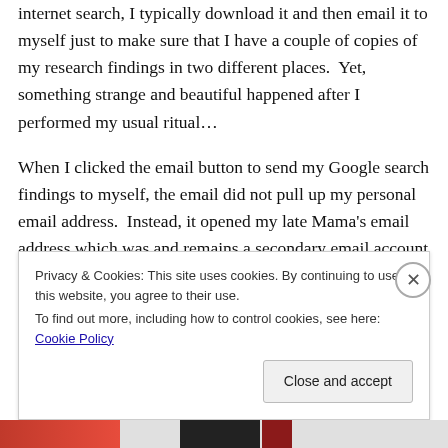internet search, I typically download it and then email it to myself just to make sure that I have a couple of copies of my research findings in two different places.  Yet, something strange and beautiful happened after I performed my usual ritual…
When I clicked the email button to send my Google search findings to myself, the email did not pull up my personal email address.  Instead, it opened my late Mama's email address which was and remains a secondary email account affiliated with my own primary account…
Privacy & Cookies: This site uses cookies. By continuing to use this website, you agree to their use.
To find out more, including how to control cookies, see here: Cookie Policy